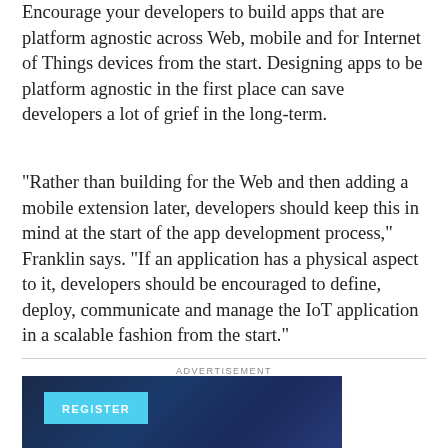Encourage your developers to build apps that are platform agnostic across Web, mobile and for Internet of Things devices from the start. Designing apps to be platform agnostic in the first place can save developers a lot of grief in the long-term.
“Rather than building for the Web and then adding a mobile extension later, developers should keep this in mind at the start of the app development process,” Franklin says. “If an application has a physical aspect to it, developers should be encouraged to define, deploy, communicate and manage the IoT application in a scalable fashion from the start.”
ADVERTISEMENT
[Figure (screenshot): Advertisement banner with dark blue gradient background featuring a cyan REGISTER button]